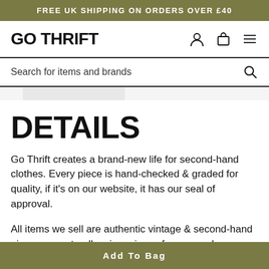FREE UK SHIPPING ON ORDERS OVER £40
GO THRIFT
Search for items and brands
DETAILS
Go Thrift creates a brand-new life for second-hand clothes. Every piece is hand-checked & graded for quality, if it's on our website, it has our seal of approval.
All items we sell are authentic vintage & second-hand pieces, so naturally minor signs of wear can be expected. We do our best to find any minor faults and
Add To Bag